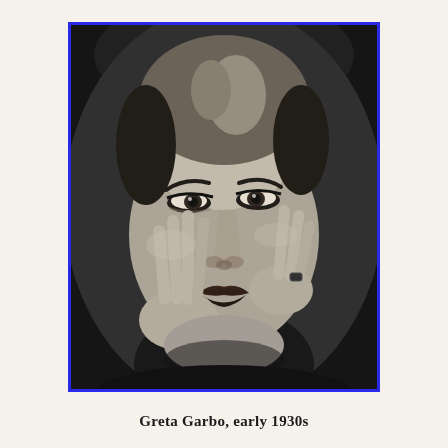[Figure (photo): Black and white portrait photograph of Greta Garbo from the early 1930s. She is shown from the shoulders up, resting her face in both hands with fingers raised near her cheeks and temples. Her hair is slicked back, and she wears dramatic eye makeup with dark lips. The image has a blue border.]
Greta Garbo, early 1930s